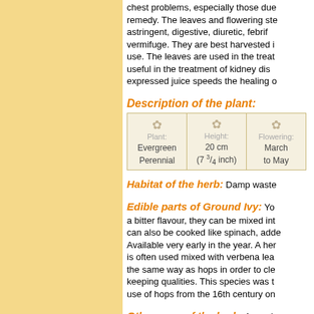chest problems, especially those due to remedy. The leaves and flowering stem astringent, digestive, diuretic, febrifuge vermifuge. They are best harvested in use. The leaves are used in the treatm useful in the treatment of kidney disea expressed juice speeds the healing of
Description of the plant:
| Plant: | Height: | Flowering: |
| --- | --- | --- |
| Evergreen Perennial | 20 cm (7 3/4 inch) | March to May |
Habitat of the herb: Damp waste
Edible parts of Ground Ivy: Yo a bitter flavour, they can be mixed into can also be cooked like spinach, adde Available very early in the year. A herb is often used mixed with verbena leav the same way as hops in order to clea keeping qualities. This species was th use of hops from the 16th century onw
Other uses of the herb: A good